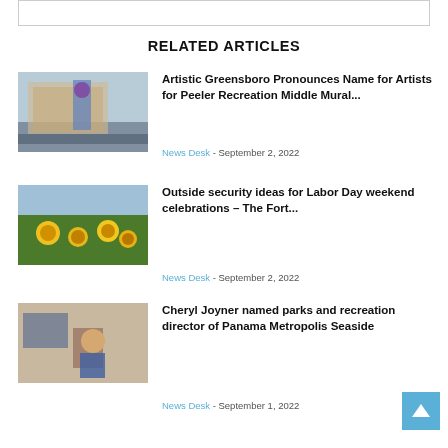[Figure (other): Top box/banner placeholder]
RELATED ARTICLES
[Figure (photo): Person painting a mural on a wall outdoors]
Artistic Greensboro Pronounces Name for Artists for Peeler Recreation Middle Mural...
News Desk - September 2, 2022
[Figure (photo): Field of sunflowers under a blue sky]
Outside security ideas for Labor Day weekend celebrations – The Fort...
News Desk - September 2, 2022
[Figure (photo): Woman sitting at a desk in an office]
Cheryl Joyner named parks and recreation director of Panama Metropolis Seaside
News Desk - September 1, 2022